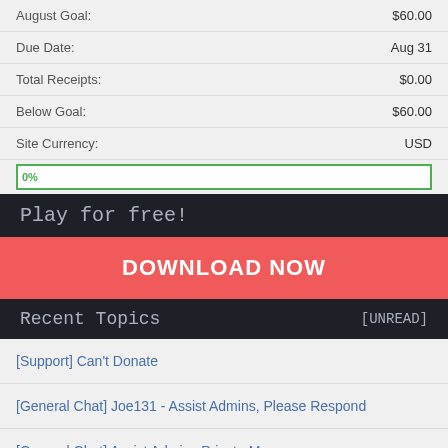August Goal: $60.00
Due Date: Aug 31
Total Receipts: $0.00
Below Goal: $60.00
Site Currency: USD
[Figure (infographic): Progress bar at 0% with green border]
Play for free!
DOWNLOAD NOW
Recent Topics [UNREAD]
[Support] Can't Donate
[General Chat] Joe131 - Assist Admins, Please Respond
[General Chat] Assist Admins Private Messages